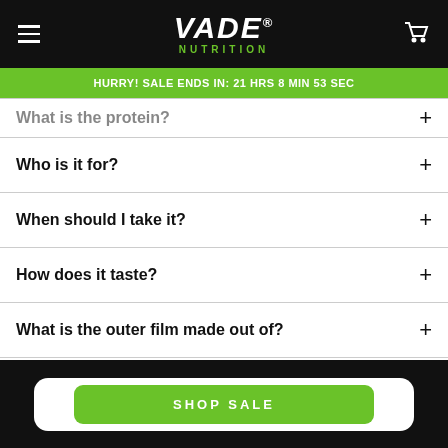VADE NUTRITION
HURRY! SALE ENDS IN: 21 HRS 8 MIN 53 SEC
What is the protein?
Who is it for?
When should I take it?
How does it taste?
What is the outer film made out of?
SHOP SALE